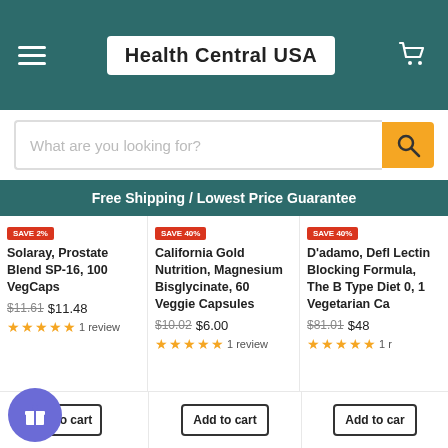Health Central USA
What are you looking for?
Free Shipping / Lowest Price Guarantee
Solaray, Prostate Blend SP-16, 100 VegCaps $11.61 $11.48 ★★★★★ 1 review
California Gold Nutrition, Magnesium Bisglycinate, 60 Veggie Capsules $10.02 $6.00 ★★★★★ 1 review
D'adamo, Defl Lectin Blocking Formula, The B Type Diet 0, 1 Vegetarian Ca $81.01 $48 ★★★★★ 1 r
Add to cart
Add to cart
Add to car